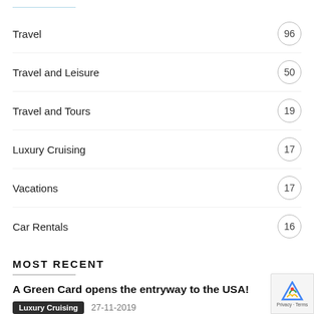Travel 96
Travel and Leisure 50
Travel and Tours 19
Luxury Cruising 17
Vacations 17
Car Rentals 16
MOST RECENT
A Green Card opens the entryway to the USA!
Luxury Cruising  27-11-2019
Methods to Discover Inexpensive Journey Offers Airline Tickets